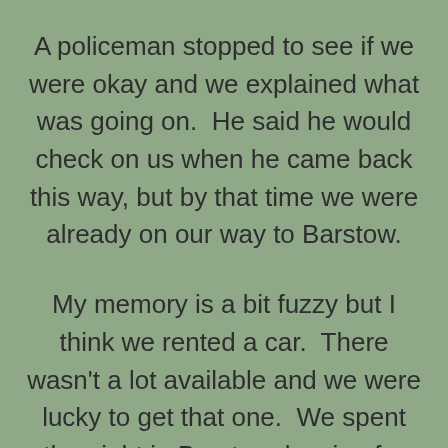A policeman stopped to see if we were okay and we explained what was going on.  He said he would check on us when he came back this way, but by that time we were already on our way to Barstow.

My memory is a bit fuzzy but I think we rented a car.  There wasn't a lot available and we were lucky to get that one.  We spent the night in Barstow, leaving for Las Vegas early the next morning.  We had to drive 156 miles which took us about two-and-a-half hours.  My aunt and uncle were great